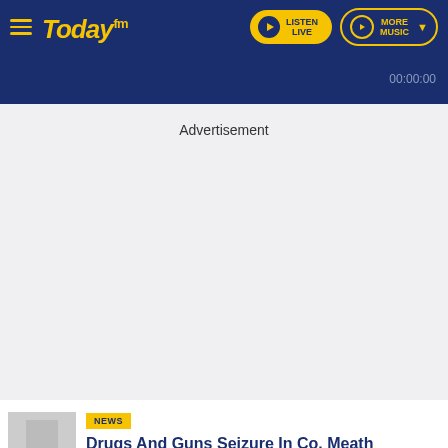Today FM — LISTEN LIVE | MORE MUSIC
00:00:00
Advertisement
NEWS
Drugs And Guns Seizure In Co. Meath